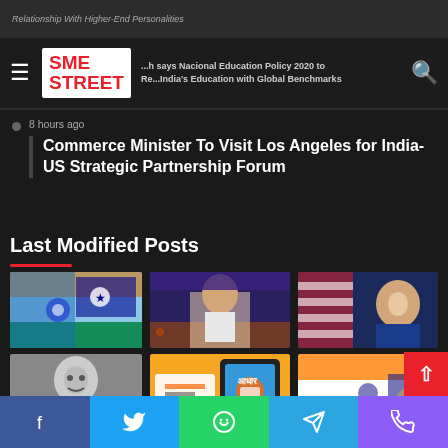Relationship With Higher-End Personalities
SME STREET — Research says Nacional Education Policy 2020 to Reformulate India's Education with Global Benchmarks
8 hours ago
Commerce Minister To Visit Los Angeles for India-US Strategic Partnership Forum
Last Modified Posts
[Figure (photo): Indian and Australian flags waving]
[Figure (photo): Speaker at podium at event with audience]
[Figure (photo): Joe Biden smiling in front of US flag]
[Figure (photo): Black and white portrait of young man]
[Figure (photo): Aadhaar cards and phone with Aadhaar app]
[Figure (photo): Indian flag and official event with people]